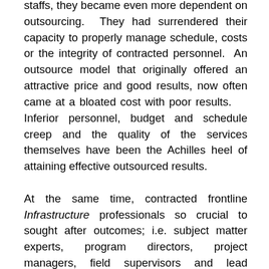staffs, they became even more dependent on outsourcing. They had surrendered their capacity to properly manage schedule, costs or the integrity of contracted personnel. An outsource model that originally offered an attractive price and good results, now often came at a bloated cost with poor results. Inferior personnel, budget and schedule creep and the quality of the services themselves have been the Achilles heel of attaining effective outsourced results.

At the same time, contracted frontline Infrastructure professionals so crucial to sought after outcomes; i.e. subject matter experts, program directors, project managers, field supervisors and lead disciplines, such as engineers, safety experts, land professionals, regulatory specialists and the like, were not personally realizing the enhanced compensation their services were commanding in the market. While their service companies were enjoying 200% to 400% mark-ups on contracted